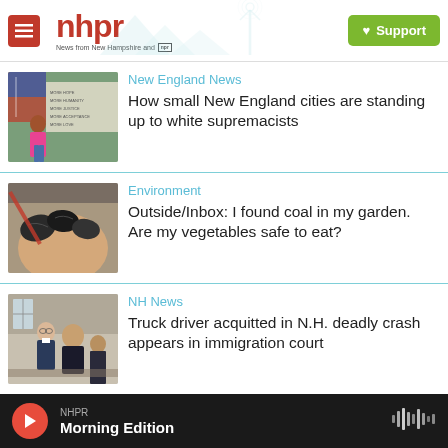nhpr — News from New Hampshire and NPR — Support
New England News
How small New England cities are standing up to white supremacists
[Figure (photo): Woman in pink shirt standing in front of a banner with messages about hope and humanity]
Environment
Outside/Inbox: I found coal in my garden. Are my vegetables safe to eat?
[Figure (photo): Hands holding pieces of coal]
NH News
Truck driver acquitted in N.H. deadly crash appears in immigration court
[Figure (photo): People in formal attire appearing in court]
NHPR — Morning Edition